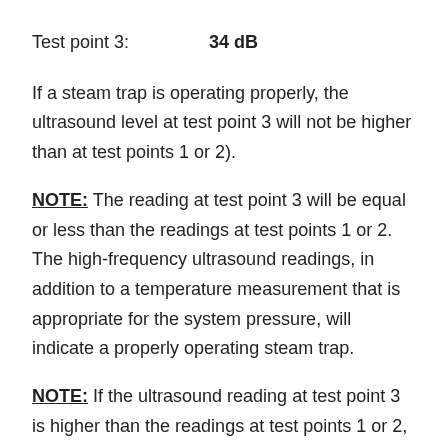Test point 3:    34 dB
If a steam trap is operating properly, the ultrasound level at test point 3 will not be higher than at test points 1 or 2).
NOTE: The reading at test point 3 will be equal or less than the readings at test points 1 or 2. The high-frequency ultrasound readings, in addition to a temperature measurement that is appropriate for the system pressure, will indicate a properly operating steam trap.
NOTE: If the ultrasound reading at test point 3 is higher than the readings at test points 1 or 2, wait for 45 seconds to ensure the steam trap was not in a cycle mode. During the cycle mode, the ultrasound reading at test point 3 will